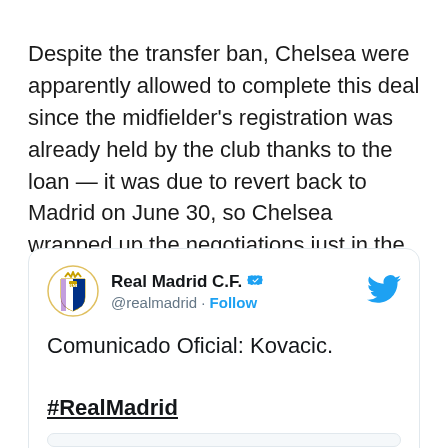Despite the transfer ban, Chelsea were apparently allowed to complete this deal since the midfielder's registration was already held by the club thanks to the loan — it was due to revert back to Madrid on June 30, so Chelsea wrapped up the negotiations just in the nick of time!
[Figure (screenshot): Embedded tweet from @realmadrid (Real Madrid C.F.) with verified badge and Twitter bird icon. Tweet text: 'Comunicado Oficial: Kovacic.' followed by '#RealMadrid' in bold underlined. A nested card hint is shown at the bottom.]